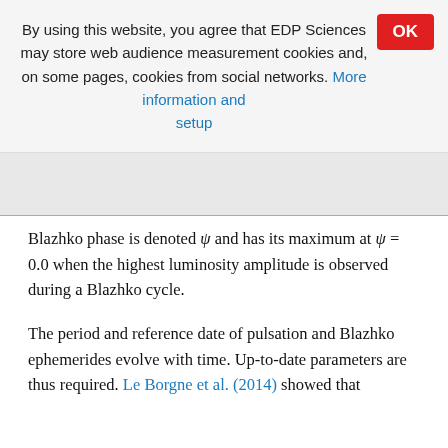By using this website, you agree that EDP Sciences may store web audience measurement cookies and, on some pages, cookies from social networks. More information and setup
Blazhko phase is denoted ψ and has its maximum at ψ = 0.0 when the highest luminosity amplitude is observed during a Blazhko cycle.
The period and reference date of pulsation and Blazhko ephemerides evolve with time. Up-to-date parameters are thus required. Le Borgne et al. (2014) showed that